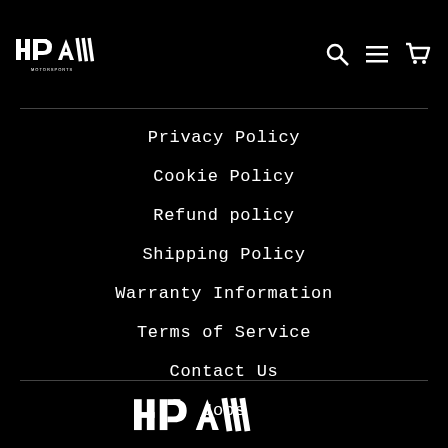HPA Motorsports — navigation header with logo and icons
Privacy Policy
Cookie Policy
Refund policy
Shipping Policy
Warranty Information
Terms of Service
Contact Us
Jobs
[Figure (logo): HPA Motorsports logo in white at the bottom footer]